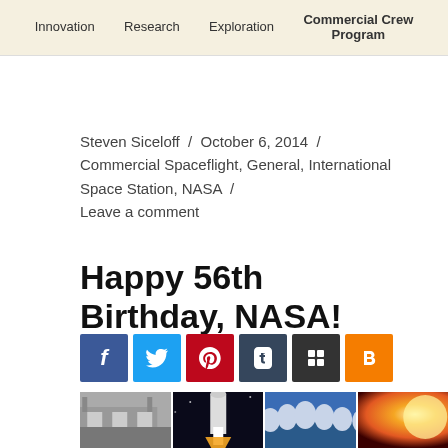[Figure (screenshot): NASA website navigation bar with menu items: Innovation, Research, Exploration, Commercial Crew Program on a beige/cream background]
Steven Siceloff / October 6, 2014 / Commercial Spaceflight, General, International Space Station, NASA / Leave a comment
Happy 56th Birthday, NASA!
[Figure (screenshot): Row of social media share buttons: Facebook (blue), Twitter (light blue), Pinterest (red), Tumblr (dark blue), Bufferapp (dark gray), Blogger (orange)]
[Figure (photo): Strip of four photos: black and white historic building/hangar, rocket launch at night, group of astronauts in silver suits, solar flare/sun activity]